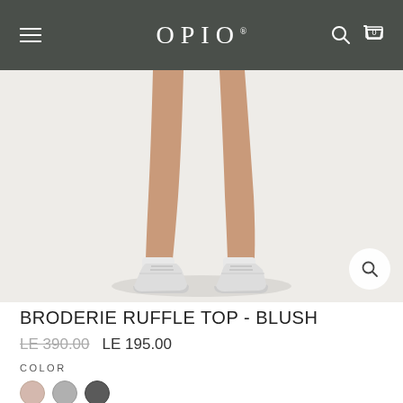OPIO
[Figure (photo): Child's legs wearing white sneakers on a light grey/white background, cropped to show from thighs down]
BRODERIE RUFFLE TOP - BLUSH
LE 390.00  LE 195.00
COLOR